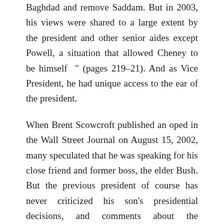Baghdad and remove Saddam. But in 2003, his views were shared to a large extent by the president and other senior aides except Powell, a situation that allowed Cheney to be himself ” (pages 219–21). And as Vice President, he had unique access to the ear of the president.
When Brent Scowcroft published an oped in the Wall Street Journal on August 15, 2002, many speculated that he was speaking for his close friend and former boss, the elder Bush. But the previous president of course has never criticized his son’s presidential decisions, and comments about the relationship between Bush 41 and Bush 43 have been pure speculation. Haass adds an intriguing comment to that part of story. He says Scowcroft did not discuss the oped at all in advance with the former president